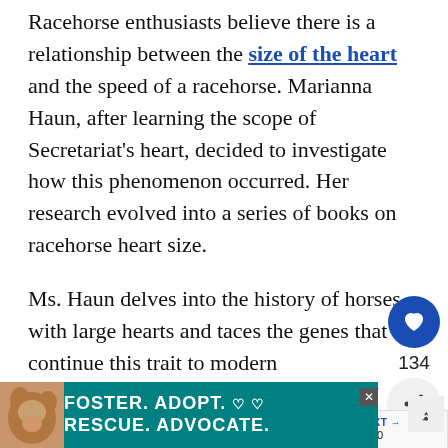Racehorse enthusiasts believe there is a relationship between the size of the heart and the speed of a racehorse. Marianna Haun, after learning the scope of Secretariat's heart, decided to investigate how this phenomenon occurred. Her research evolved into a series of books on racehorse heart size.

Ms. Haun delves into the history of horses with large hearts and taces the genes that continue this trait to modern Thoroughbreds. Her first book is The X Factor, What it is & how to find it. The Relationship Between Inherited Heart Size & Racing Performance. The book can be
[Figure (screenshot): Website UI overlay showing a heart/like button (blue circle with white heart icon), a count of 134, and a share button (grey circle with share icon)]
[Figure (screenshot): WHAT'S NEXT overlay showing a thumbnail image of a horse and text: 'Seabiscuit: 10 Facts About...']
[Figure (screenshot): Advertisement banner: FOSTER. ADOPT. RESCUE. ADVOCATE. with dog image on left and close button. Teal/green background with white bold text.]